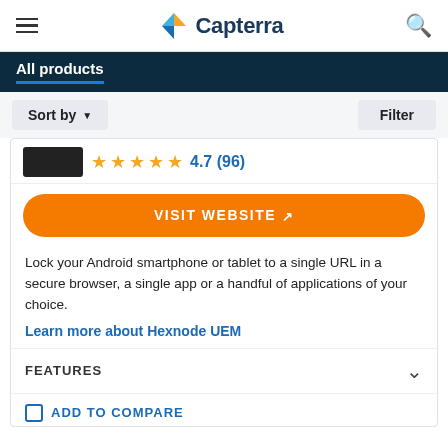Capterra
All products
Sort by   Filter
[Figure (other): Product rating row showing a black logo placeholder and star rating: 4.7 (96) in orange/blue]
VISIT WEBSITE
Lock your Android smartphone or tablet to a single URL in a secure browser, a single app or a handful of applications of your choice.
Learn more about Hexnode UEM
FEATURES
ADD TO COMPARE